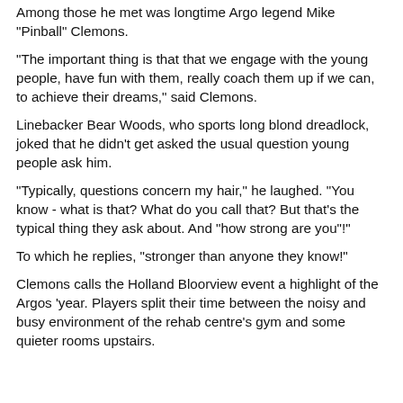Among those he met was longtime Argo legend Mike "Pinball" Clemons.
"The important thing is that that we engage with the young people, have fun with them, really coach them up if we can, to achieve their dreams," said Clemons.
Linebacker Bear Woods, who sports long blond dreadlock, joked that he didn't get asked the usual question young people ask him.
"Typically, questions concern my hair," he laughed. "You know - what is that? What do you call that? But that's the typical thing they ask about. And "how strong are you"!"
To which he replies, "stronger than anyone they know!"
Clemons calls the Holland Bloorview event a highlight of the Argos 'year. Players split their time between the noisy and busy environment of the rehab centre's gym and some quieter rooms upstairs.